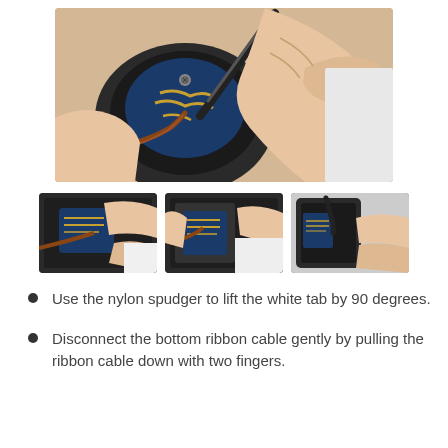[Figure (photo): Close-up photo of hands using a nylon spudger tool to lift a white ZIF connector tab on a circuit board inside a disassembled electronic device (camera or similar). A brown flat ribbon cable is visible being disconnected.]
[Figure (photo): Thumbnail 1: Hands working on circuit board inside device shell, pulling ribbon cable.]
[Figure (photo): Thumbnail 2: Hands holding open device showing circuit board with ribbon cable being disconnected.]
[Figure (photo): Thumbnail 3: Close-up of hands working on the side of the device with a tool near the ribbon cable connector.]
Use the nylon spudger to lift the white tab by 90 degrees.
Disconnect the bottom ribbon cable gently by pulling the ribbon cable down with two fingers.